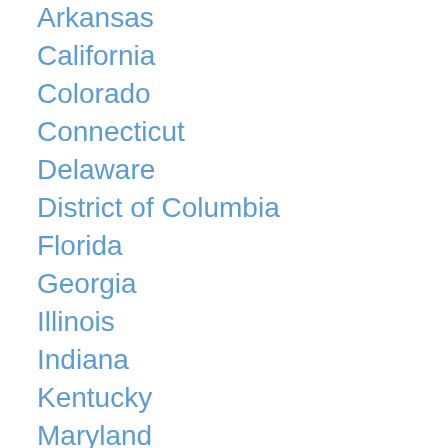Arkansas
California
Colorado
Connecticut
Delaware
District of Columbia
Florida
Georgia
Illinois
Indiana
Kentucky
Maryland